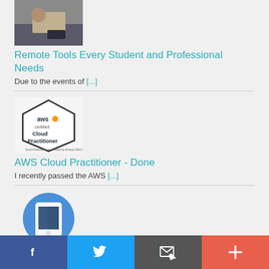[Figure (photo): Thumbnail photo of a person sitting with a phone and notebook]
Remote Tools Every Student and Professional Needs
Due to the events of [...]
[Figure (logo): AWS Certified Cloud Practitioner badge/logo hexagon]
AWS Cloud Practitioner - Done
I recently passed the AWS [...]
[Figure (illustration): Mobile phone icon on blue circle background]
Facebook | Twitter | Email | More